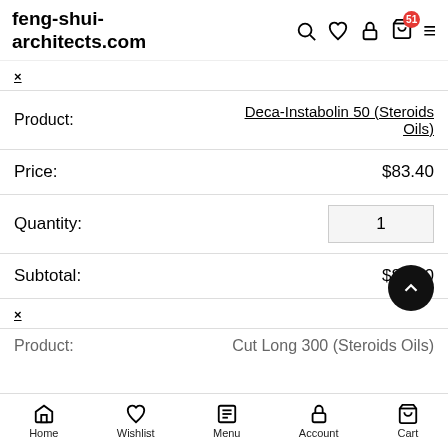feng-shui-architects.com
| × |  |
| Product: | Deca-Instabolin 50 (Steroids Oils) |
| Price: | $83.40 |
| Quantity: | 1 |
| Subtotal: | $83.40 |
| × |  |
| Product: | Cut Long 300 (Steroids Oils) |
Home  Wishlist  Menu  Account  Cart